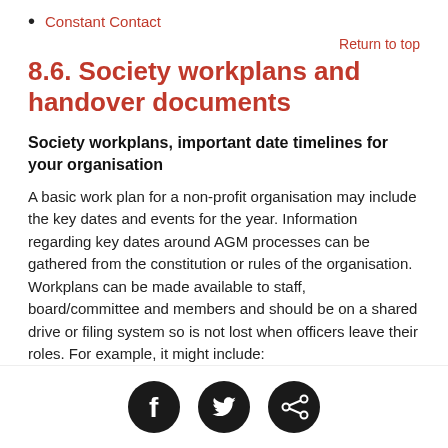Constant Contact
Return to top
8.6. Society workplans and handover documents
Society workplans, important date timelines for your organisation
A basic work plan for a non-profit organisation may include the key dates and events for the year. Information regarding key dates around AGM processes can be gathered from the constitution or rules of the organisation. Workplans can be made available to staff, board/committee and members and should be on a shared drive or filing system so is not lost when officers leave their roles. For example, it might include:
Dates for committee/board meetings for the year
[Figure (infographic): Social media sharing icons: Facebook, Twitter, and a share icon, displayed as white symbols on black circular backgrounds in a footer bar.]